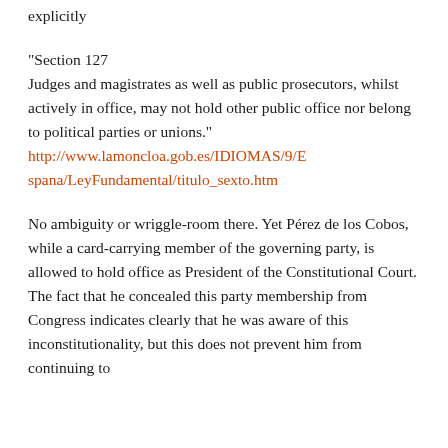explicitly
"Section 127
Judges and magistrates as well as public prosecutors, whilst actively in office, may not hold other public office nor belong to political parties or unions."
http://www.lamoncloa.gob.es/IDIOMAS/9/Espana/LeyFundamental/titulo_sexto.htm
No ambiguity or wriggle-room there. Yet Pérez de los Cobos, while a card-carrying member of the governing party, is allowed to hold office as President of the Constitutional Court. The fact that he concealed this party membership from Congress indicates clearly that he was aware of this inconstitutionality, but this does not prevent him from continuing to